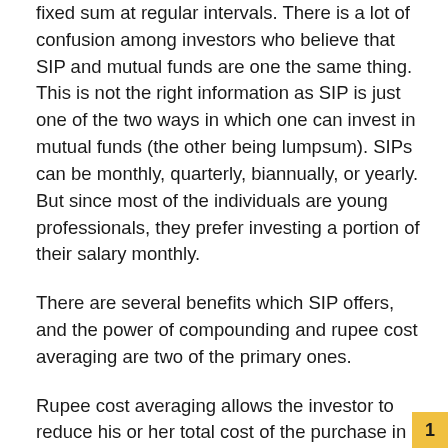fixed sum at regular intervals. There is a lot of confusion among investors who believe that SIP and mutual funds are one the same thing. This is not the right information as SIP is just one of the two ways in which one can invest in mutual funds (the other being lumpsum). SIPs can be monthly, quarterly, biannually, or yearly. But since most of the individuals are young professionals, they prefer investing a portion of their salary monthly.
There are several benefits which SIP offers, and the power of compounding and rupee cost averaging are two of the primary ones.
Rupee cost averaging allows the investor to reduce his or her total cost of the purchase in the long run. Since the mutual fund NAV fluctuates from time to time when the NAV is low investors can buy more units. Similarly, when the NAV of the mutual fund goes up investors buy fewer units through their SIP investments. This process is referred to as rupee cost